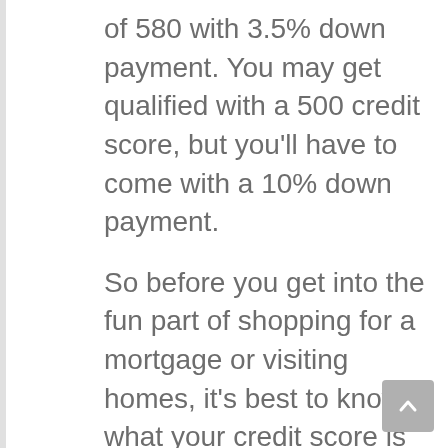of 580 with 3.5% down payment. You may get qualified with a 500 credit score, but you'll have to come with a 10% down payment.
So before you get into the fun part of shopping for a mortgage or visiting homes, it's best to know what your credit score is and take steps to improve it.
You can get a free credit score at Credit Sesame.
B. Fix errors on your credit report.